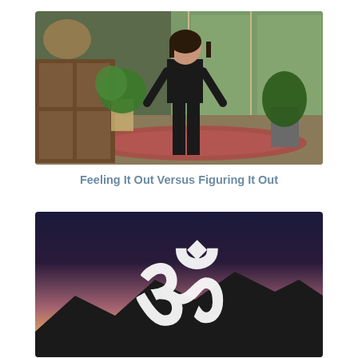[Figure (photo): A woman in black outfit standing in a living room with plants and large windows]
Feeling It Out Versus Figuring It Out
[Figure (illustration): Om/AUM symbol in white on a dark gradient sky with mountain silhouette at bottom]
OM Chanting – 108 Times (Million